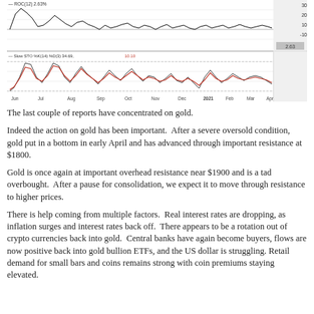[Figure (continuous-plot): Two-panel technical chart showing ROC(12) line chart on top and Slow STO %K(14) %D(3) oscillator with a red signal line on the bottom, spanning from Jun to May timeframe. The top panel shows rate of change oscillating between approximately -10 and 30. The bottom panel shows stochastic oscillator between 20 and 80.]
The last couple of reports have concentrated on gold.
Indeed the action on gold has been important.  After a severe oversold condition, gold put in a bottom in early April and has advanced through important resistance at $1800.
Gold is once again at important overhead resistance near $1900 and is a tad overbought.  After a pause for consolidation, we expect it to move through resistance to higher prices.
There is help coming from multiple factors.  Real interest rates are dropping, as inflation surges and interest rates back off.  There appears to be a rotation out of crypto currencies back into gold.  Central banks have again become buyers, flows are now positive back into gold bullion ETFs, and the US dollar is struggling. Retail demand for small bars and coins remains strong with coin premiums staying elevated.